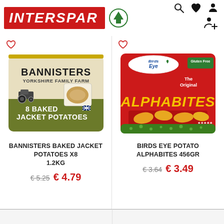[Figure (logo): INTERSPAR logo with red background, white italic text, and green tree symbol]
[Figure (photo): Bannisters Yorkshire Family Farm 8 Baked Jacket Potatoes 1.2kg product package]
[Figure (photo): Birds Eye The Original Alphabites Gluten Free 456gr product package]
BANNISTERS BAKED JACKET POTATOES X8 1.2kg
€ 5.25  € 4.79
BIRDS EYE POTATO ALPHABITES 456gr
€ 3.64  € 3.49